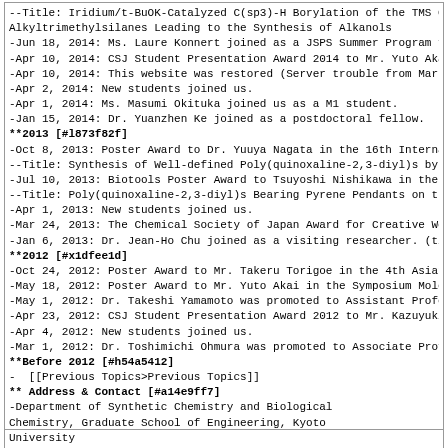--Title: Iridium/t-BuOK-Catalyzed C(sp3)-H Borylation of the TMS G Alkyltrimethylsilanes Leading to the Synthesis of Alkanols
-Jun 18, 2014: Ms. Laure Konnert joined as a JSPS Summer Program f
-Apr 10, 2014: CSJ Student Presentation Award 2014 to Mr. Yuto Aka
-Apr 10, 2014: This website was restored (Server trouble from Mar
-Apr 2, 2014: New students joined us.
-Apr 1, 2014: Ms. Masumi Okituka joined us as a M1 student.
-Jan 15, 2014: Dr. Yuanzhen Ke joined as a postdoctoral fellow.
**2013 [#l873f82f]
-Oct 8, 2013: Poster Award to Dr. Yuuya Nagata in the 16th Interna
--Title: Synthesis of Well-defined Poly(quinoxaline-2,3-diyl)s by
-Jul 10, 2013: Biotools Poster Award to Tsuyoshi Nishikawa in the
--Title: Poly(quinoxaline-2,3-diyl)s Bearing Pyrene Pendants on th
-Apr 1, 2013: New students joined us.
-Mar 24, 2013: The Chemical Society of Japan Award for Creative Wo
-Jan 6, 2013: Dr. Jean-Ho Chu joined as a visiting researcher. (ti
**2012 [#x1dfee1d]
-Oct 24, 2012: Poster Award to Mr. Takeru Torigoe in the 4th Asian
-May 18, 2012: Poster Award to Mr. Yuto Akai in the Symposium Mole
-May 1, 2012: Dr. Takeshi Yamamoto was promoted to Assistant Profe
-Apr 23, 2012: CSJ Student Presentation Award 2012 to Mr. Kazuyuki
-Apr 4, 2012: New students joined us.
-Mar 1, 2012: Dr. Toshimichi Ohmura was promoted to Associate Prof
**Before 2012 [#h54a5412]
-  [[Previous Topics>Previous Topics]]
** Address & Contact [#a14e9ff7]
-Department of Synthetic Chemistry and Biological
Chemistry, Graduate School of Engineering, Kyoto
University
-Katsura, Nishikyo-ku, Kyoto 615-8510, Japan
-Phone +81-75-383-2750; FAX +81-75-383-2722
-e-mail suginome[atmark]sbchem.kyoto-u.ac.jp